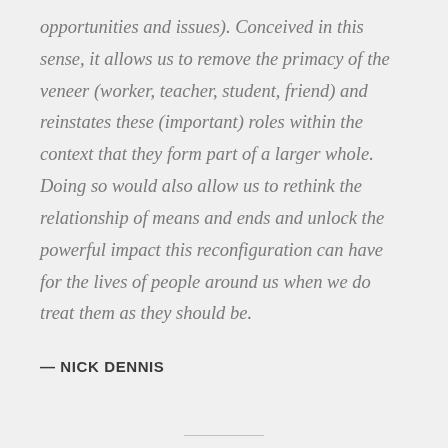opportunities and issues). Conceived in this sense, it allows us to remove the primacy of the veneer (worker, teacher, student, friend) and reinstates these (important) roles within the context that they form part of a larger whole. Doing so would also allow us to rethink the relationship of means and ends and unlock the powerful impact this reconfiguration can have for the lives of people around us when we do treat them as they should be.
— NICK DENNIS